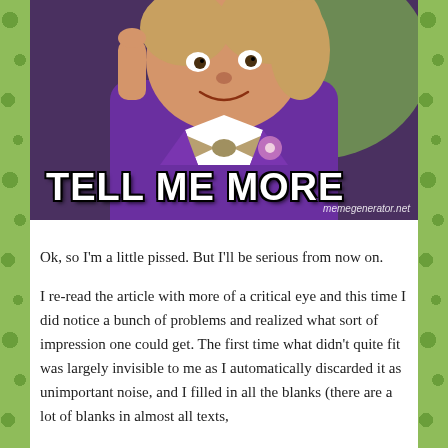[Figure (photo): A meme image of Willy Wonka (Gene Wilder) in a purple velvet suit and bow tie, resting his hand on his face in a condescending/sarcastic pose. Bold white text at the bottom reads 'TELL ME MORE'. Watermark reads 'memegenerator.net'.]
Ok, so I'm a little pissed. But I'll be serious from now on.
I re-read the article with more of a critical eye and this time I did notice a bunch of problems and realized what sort of impression one could get. The first time what didn't quite fit was largely invisible to me as I automatically discarded it as unimportant noise, and I filled in all the blanks (there are a lot of blanks in almost all texts,